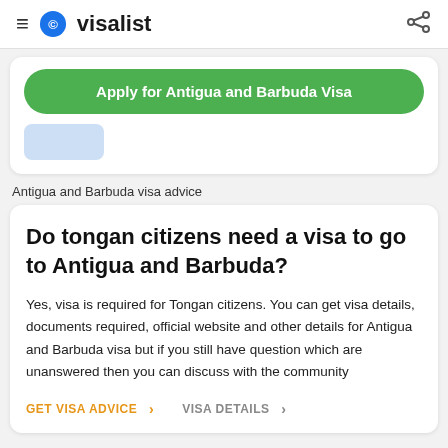visalist
Apply for Antigua and Barbuda Visa
Antigua and Barbuda visa advice
Do tongan citizens need a visa to go to Antigua and Barbuda?
Yes, visa is required for Tongan citizens. You can get visa details, documents required, official website and other details for Antigua and Barbuda visa but if you still have question which are unanswered then you can discuss with the community
GET VISA ADVICE > VISA DETAILS >